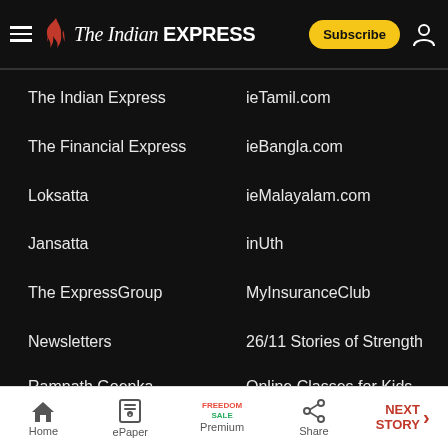The Indian Express
The Indian Express
ieTamil.com
The Financial Express
ieBangla.com
Loksatta
ieMalayalam.com
Jansatta
inUth
The ExpressGroup
MyInsuranceClub
Newsletters
26/11 Stories of Strength
Ramnath Goenka Excellence in
Online Classes for Kids
Home | ePaper | Premium | Share | NEXT STORY